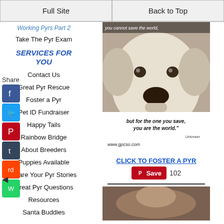Full Site | Back to Top
Working Pyrs Part 2
Take The Pyr Exam
SERVICES FOR YOU
Contact Us
Great Pyr Rescue
Foster a Pyr
Pet ID Fundraiser
Happy Tails
Rainbow Bridge
About Breeders
Puppies Available
Share Your Pyr Stories
Great Pyr Questions
Resources
Santa Buddies
[Figure (photo): White Great Pyrenees dog face close-up with text overlay: 'but for the one you save, you are the world.' Unknown. www.gpcso.com]
CLICK TO FOSTER A PYR
Save 102
[Figure (photo): Partial photo of another dog, brown tones, bottom of page]